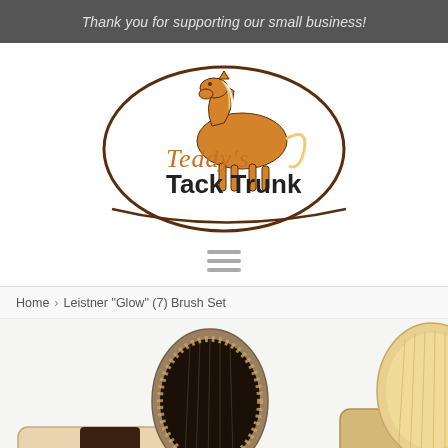Thank you for supporting our small business!
[Figure (logo): Teddy's Tack Trunk oval logo with illustrated horse]
[Figure (other): Hamburger menu icon (three horizontal lines)]
Home › Leistner "Glow" (7) Brush Set
[Figure (photo): Photo of Leistner Glow brush set showing two brushes - one dark bristle and one light bristle, with wooden handles]